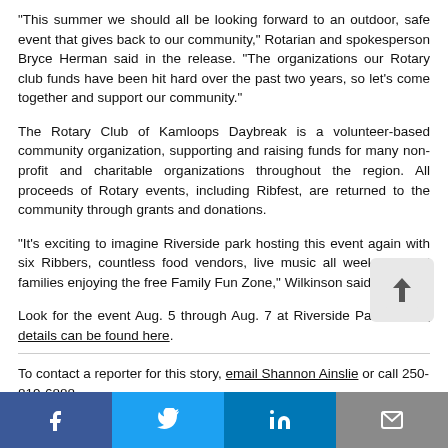“This summer we should all be looking forward to an outdoor, safe event that gives back to our community,” Rotarian and spokesperson Bryce Herman said in the release. “The organizations our Rotary club funds have been hit hard over the past two years, so let’s come together and support our community.”
The Rotary Club of Kamloops Daybreak is a volunteer-based community organization, supporting and raising funds for many non-profit and charitable organizations throughout the region. All proceeds of Rotary events, including Ribfest, are returned to the community through grants and donations.
“It’s exciting to imagine Riverside park hosting this event again with six Ribbers, countless food vendors, live music all weekend, and families enjoying the free Family Fun Zone,” Wilkinson said.
Look for the event Aug. 5 through Aug. 7 at Riverside Park. All the details can be found here.
To contact a reporter for this story, email Shannon Ainslie or call 250-819-6888...